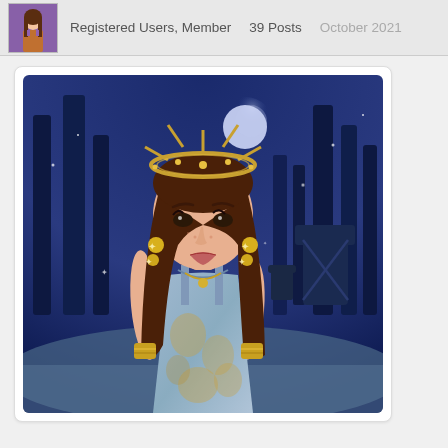Registered Users, Member   39 Posts   October 2021
[Figure (illustration): Animated/illustrated female avatar character with long brown hair, gold sun crown headpiece, wearing a blue and gold floral dress with gold cuff bracelets and gold star earrings. Standing in a moonlit dark forest cemetery scene with tombstones, tall dark trees, and a full moon in the background. Digital fashion game art style.]